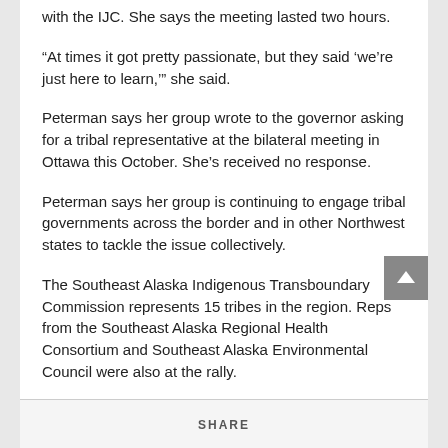with the IJC. She says the meeting lasted two hours.
“At times it got pretty passionate, but they said ‘we’re just here to learn,’” she said.
Peterman says her group wrote to the governor asking for a tribal representative at the bilateral meeting in Ottawa this October. She’s received no response.
Peterman says her group is continuing to engage tribal governments across the border and in other Northwest states to tackle the issue collectively.
The Southeast Alaska Indigenous Transboundary Commission represents 15 tribes in the region. Reps from the Southeast Alaska Regional Health Consortium and Southeast Alaska Environmental Council were also at the rally.
SHARE